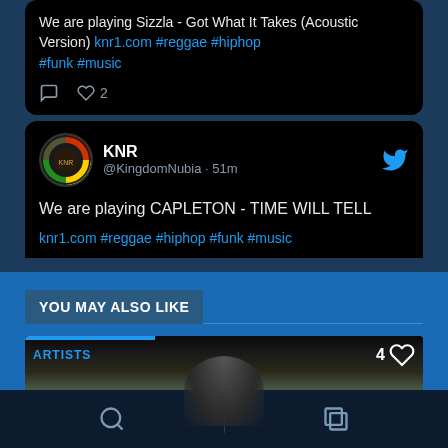We are playing Sizzla - Got What It Takes (Acoustic Version) knr1.com #reggae #hiphop #funk #music
KNR @KingdomNubia · 51m
We are playing CAPLETON - TIME WILL TELL knr1.com #reggae #hiphop #funk #music
YOU MAY ALSO LIKE
[Figure (screenshot): ARTISTS card with a count of 4 hearts, showing a partial photo image background with a person's silhouette]
[Figure (screenshot): Bottom navigation bar with search magnifying glass icon and a stacked squares icon, dark navy background]